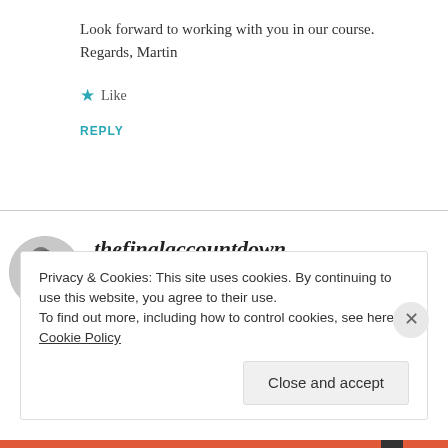Look forward to working with you in our course.
Regards, Martin
★ Like
REPLY
thefinalaccountdown
MARCH 2, 2016 AT 6:38 AM
Privacy & Cookies: This site uses cookies. By continuing to use this website, you agree to their use.
To find out more, including how to control cookies, see here: Cookie Policy
Close and accept